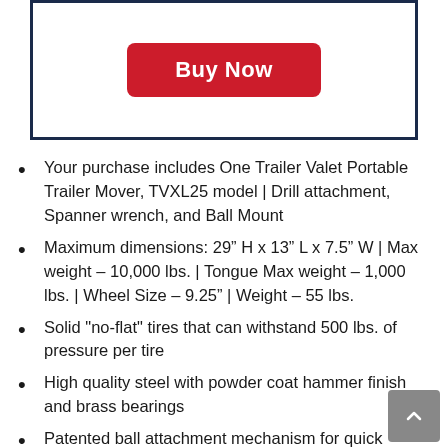[Figure (other): Buy Now button inside a dark navy bordered box]
Your purchase includes One Trailer Valet Portable Trailer Mover, TVXL25 model | Drill attachment, Spanner wrench, and Ball Mount
Maximum dimensions: 29” H x 13” L x 7.5” W | Max weight – 10,000 lbs. | Tongue Max weight – 1,000 lbs. | Wheel Size – 9.25” | Weight – 55 lbs.
Solid "no-flat" tires that can withstand 500 lbs. of pressure per tire
High quality steel with powder coat hammer finish and brass bearings
Patented ball attachment mechanism for quick attachment and greater...